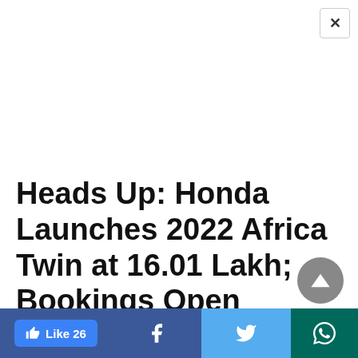Heads Up: Honda Launches 2022 Africa Twin at 16.01 Lakh; Bookings Open
PUBLISHED BY
Akshat Kaila